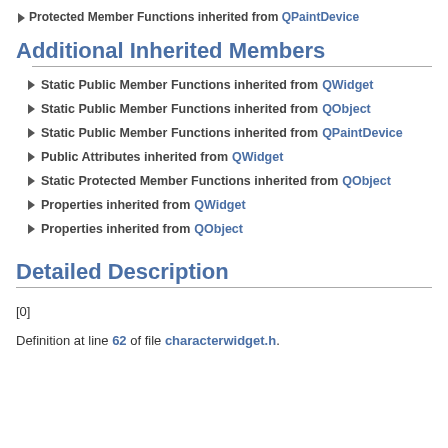Protected Member Functions inherited from QPaintDevice
Additional Inherited Members
Static Public Member Functions inherited from QWidget
Static Public Member Functions inherited from QObject
Static Public Member Functions inherited from QPaintDevice
Public Attributes inherited from QWidget
Static Protected Member Functions inherited from QObject
Properties inherited from QWidget
Properties inherited from QObject
Detailed Description
[0]
Definition at line 62 of file characterwidget.h.